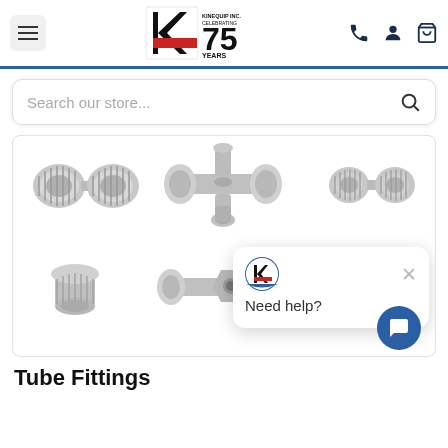Kinequip Inc. Celebrating 75 Years — header with hamburger menu, logo, phone, account, cart icons
[Figure (screenshot): Search bar with placeholder text 'Search our store...' and magnifying glass icon]
[Figure (photo): Product images of tube fittings: union connectors, tee fitting, straight union, cap fitting, and elbow fitting (all stainless steel compression fittings)]
[Figure (screenshot): Chat popup overlay with Kinequip logo icon, X close button, and 'Need help?' text, plus blue chat FAB button]
Tube Fittings